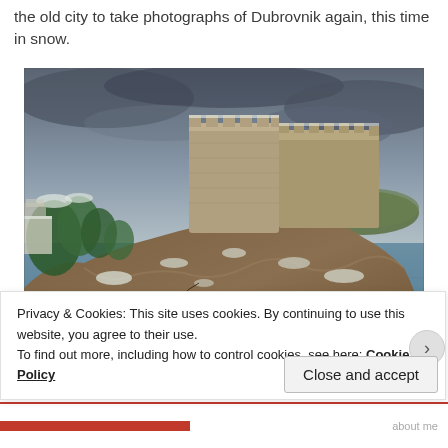the old city to take photographs of Dubrovnik again, this time in snow.
[Figure (photo): Photograph of Dubrovnik old city walls and fortress on rocky cliffs above the Adriatic Sea, with snow dusting the rocks and trees. Overcast winter sky with dark clouds. Green trees visible on left, island visible in the distance on the right.]
Privacy & Cookies: This site uses cookies. By continuing to use this website, you agree to their use.
To find out more, including how to control cookies, see here: Cookie Policy
Close and accept